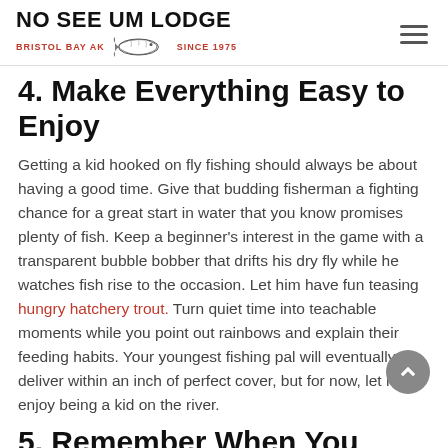No See Um Lodge — Bristol Bay AK Since 1975
4. Make Everything Easy to Enjoy
Getting a kid hooked on fly fishing should always be about having a good time. Give that budding fisherman a fighting chance for a great start in water that you know promises plenty of fish. Keep a beginner's interest in the game with a transparent bubble bobber that drifts his dry fly while he watches fish rise to the occasion. Let him have fun teasing hungry hatchery trout. Turn quiet time into teachable moments while you point out rainbows and explain their feeding habits. Your youngest fishing pal will eventually deliver within an inch of perfect cover, but for now, let him enjoy being a kid on the river.
5. Remember When You Were